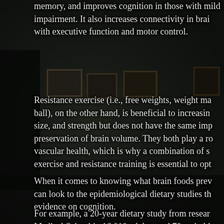[Figure (photo): Dark, moody photograph of an old interior room with framed pictures on the wall and a vintage television set on the floor. The room has dark walls and dim lighting creating a somber atmosphere.]
memory, and improves cognition in those with mild impairment. It also increases connectivity in brain areas with executive function and motor control.
Resistance exercise (i.e., free weights, weight machines, ball), on the other hand, is beneficial to increasing muscle size, and strength but does not have the same impact on preservation of brain volume. They both play a role in vascular health, which is why a combination of stretching exercise and resistance training is essential to opt...
When it comes to knowing what brain foods prev... can look to the epidemiological dietary studies th... evidence on cognition.
For example, a 20-year dietary study from resear... Medical School in 16,010 adults aged 70 and old... who ate blueberries and strawberries had a t...